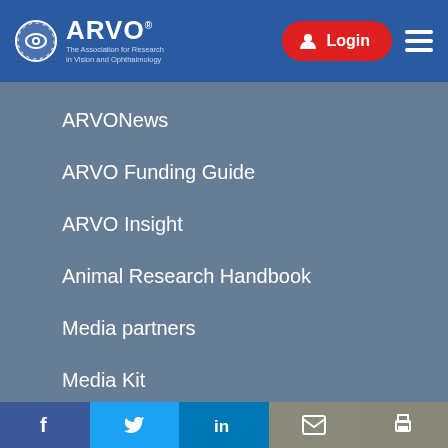ARVO – The Association for Research in Vision and Ophthalmology
ARVONews
ARVO Funding Guide
ARVO Insight
Animal Research Handbook
Media partners
Media Kit
Awards and Grants
f  (Twitter bird)  in  (email icon)  (print icon)